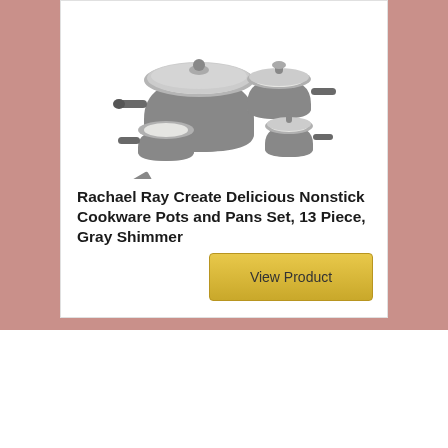[Figure (photo): Gray shimmer nonstick cookware set including multiple pots, pans, lids, and a spatula arranged together]
Rachael Ray Create Delicious Nonstick Cookware Pots and Pans Set, 13 Piece, Gray Shimmer
View Product
Functionality is essential when buying the aluminum nonstick cookware set products